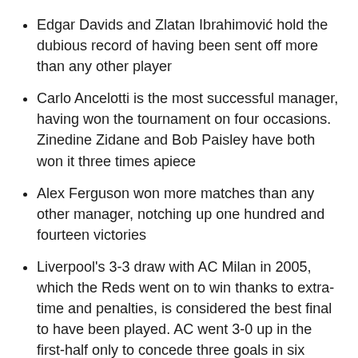Edgar Davids and Zlatan Ibrahimović hold the dubious record of having been sent off more than any other player
Carlo Ancelotti is the most successful manager, having won the tournament on four occasions. Zinedine Zidane and Bob Paisley have both won it three times apiece
Alex Ferguson won more matches than any other manager, notching up one hundred and fourteen victories
Liverpool's 3-3 draw with AC Milan in 2005, which the Reds went on to win thanks to extra-time and penalties, is considered the best final to have been played. AC went 3-0 up in the first-half only to concede three goals in six minutes in the second period before losing out
2020 saw the competition contested as a single-leg knockout from the quarters onwards, all held in Lisbon behind closed doors due to the corona virus outbreak. Bayern Munich won the latest